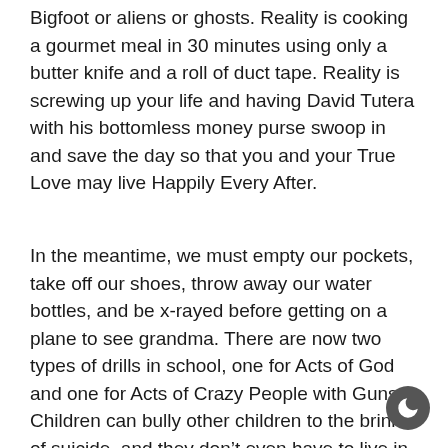Bigfoot or aliens or ghosts. Reality is cooking a gourmet meal in 30 minutes using only a butter knife and a roll of duct tape. Reality is screwing up your life and having David Tutera with his bottomless money purse swoop in and save the day so that you and your True Love may live Happily Every After.
In the meantime, we must empty our pockets, take off our shoes, throw away our water bottles, and be x-rayed before getting on a plane to see grandma. There are now two types of drills in school, one for Acts of God and one for Acts of Crazy People with Guns. Children can bully other children to the brink of suicide, and they don’t even have to live in the same town. Or state. Or country.